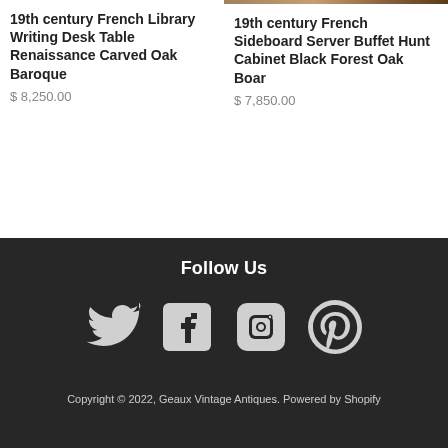19th century French Library Writing Desk Table Renaissance Carved Oak Baroque
$ 8,250.00
[Figure (photo): Partial product image visible at top right of page for 19th century French Sideboard Server Buffet Hunt Cabinet Black Forest Oak Boar]
19th century French Sideboard Server Buffet Hunt Cabinet Black Forest Oak Boar
$ 7,850.00
Follow Us
[Figure (logo): Twitter, Facebook, Instagram, Pinterest social media icons in white on dark background]
Copyright © 2022, Geaux Vintage Antiques. Powered by Shopify